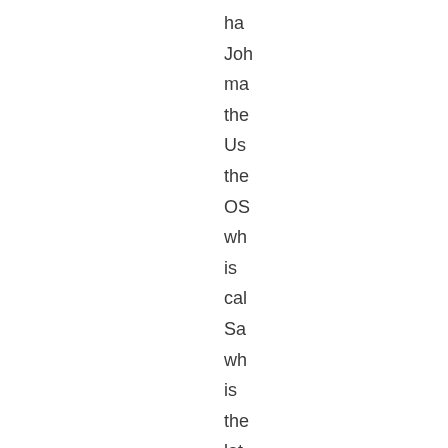ha
Joh
ma
the
Us
the
OS
wh
is
cal
Sa
wh
is
the
lat
ev
of